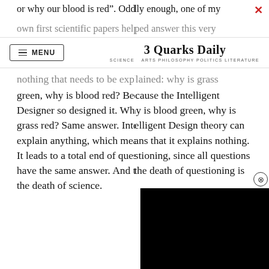or why our blood is red”. Oddly enough, one of my
own first scientific papers helped answer this very
3 Quarks Daily — SCIENCE ARTS PHILOSOPHY POLITICS LITERATURE
nothing that needs to be explained: why is grass green, why is blood red? Because the Intelligent Designer so designed it. Why is blood green, why is grass red? Same answer. Intelligent Design theory can explain anything, which means that it explains nothing. It leads to a total end of questioning, since all questions have the same answer. And the death of questioning is the death of science.
[Figure (screenshot): Black video player overlay in bottom-right corner with a close (X) button above it]